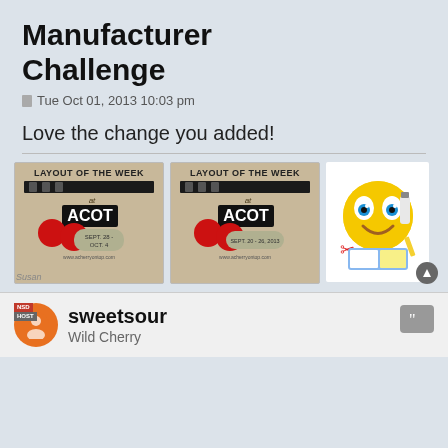Manufacturer Challenge
Tue Oct 01, 2013 10:03 pm
Love the change you added!
[Figure (illustration): Two ACOT (A Cherry On Top) Layout of the Week badge images side by side, and a crafting emoji image on the right]
sweetsour
Wild Cherry